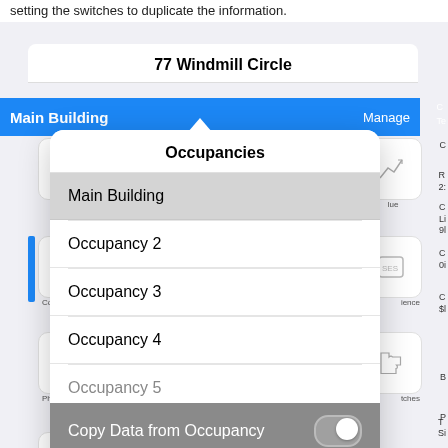setting the switches to duplicate the information.
[Figure (screenshot): Mobile app screenshot showing an 'Occupancies' modal dialog over a property inspection app displaying '77 Windmill Circle'. The modal lists: Main Building (selected/highlighted), Occupancy 2, Occupancy 3, Occupancy 4, Occupancy 5 (partially visible). Below the list are two toggle switches: 'Copy Data from Occupancy' (off) and 'Copy SubObjects' (off), on a grey background. At the bottom are 'Create' and 'Cancel' buttons. Behind the modal, the app shows a 'Main Building' blue header bar with 'Manage' on the right, and various grid icons including 'Instructions', 'Comments', 'Photos', 'AR Sketch'. Partial right-side column labels are visible.]